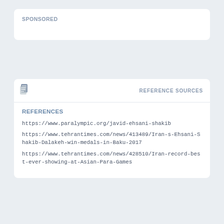SPONSORED
REFERENCE SOURCES
REFERENCES
https://www.paralympic.org/javid-ehsani-shakib
https://www.tehrantimes.com/news/413489/Iran-s-Ehsani-Shakib-Dalakeh-win-medals-in-Baku-2017
https://www.tehrantimes.com/news/428510/Iran-record-best-ever-showing-at-Asian-Para-Games